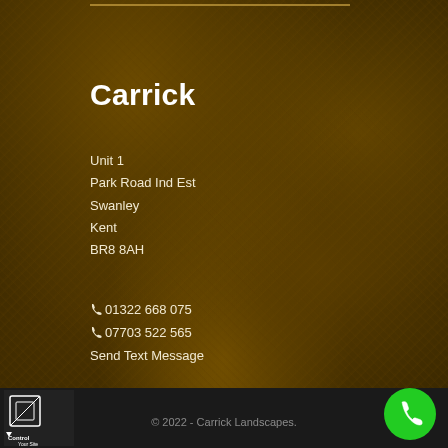Carrick
Unit 1
Park Road Ind Est
Swanley
Kent
BR8 8AH
☎ 01322 668 075
☎ 07703 522 565
Send Text Message
Privacy Policy
Contact Us
FAQ
Carrick Landscapes Site
Sitemap
[Figure (logo): Control Your Site logo - small black and white logo in bottom left corner]
© 2022 - Carrick Landscapes.
[Figure (illustration): Green circular call button with white phone icon in bottom right corner]